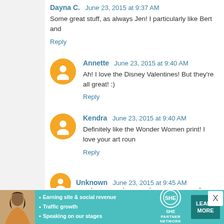Dayna C.   June 23, 2015 at 9:37 AM
Some great stuff, as always Jen! I particularly like Bert and
Reply
Annette   June 23, 2015 at 9:40 AM
Ah! I love the Disney Valentines! But they're all great! :)
Reply
Kendra   June 23, 2015 at 9:40 AM
Definitely like the Wonder Women print! I love your art roun
Reply
Lisa H   June 23, 2015 at 9:42 AM
So much shiny! How do you always find so much great stuf
Reply
Unknown   June 23, 2015 at 9:45 AM
[Figure (infographic): SHE Partner Network advertisement banner with photo of woman, bullet points about earning site & social revenue, traffic growth, speaking on our stages, and a Learn More button]